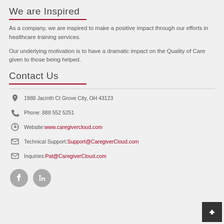We are Inspired
As a company, we are inspired to make a positive impact through our efforts in healthcare training services.
Our underlying motivation is to have a dramatic impact on the Quality of Care given to those being helped.
Contact Us
1988 Jacinth Ct Grove City, OH 43123
Phone: 888 552 5251
Website: www.caregivercloud.com
Technical Support: Support@CaregiverCloud.com
Inquiries: Pat@CaregiverCloud.com
[Figure (illustration): Social media icons: Facebook and LinkedIn circles in gray]